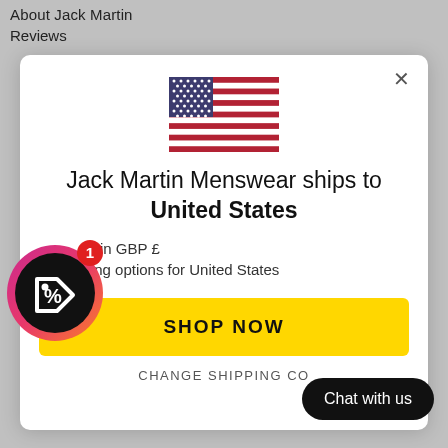About Jack Martin
Reviews
[Figure (screenshot): Modal dialog showing US flag, shipping destination message, currency and shipping info, Shop Now button, and Change Shipping Country link]
Jack Martin Menswear ships to United States
in GBP £
shipping options for United States
SHOP NOW
CHANGE SHIPPING CO
[Figure (logo): Coupon/discount badge icon with pink-orange gradient ring, black circle, white percentage tag icon, and red notification dot with number 1]
Chat with us